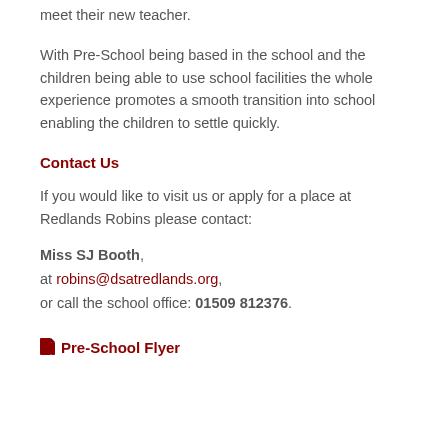During the summer term, children visit the EYFS class and meet their new teacher.
With Pre-School being based in the school and the children being able to use school facilities the whole experience promotes a smooth transition into school enabling the children to settle quickly.
Contact Us
If you would like to visit us or apply for a place at Redlands Robins please contact:
Miss SJ Booth, at robins@dsatredlands.org, or call the school office: 01509 812376.
Pre-School Flyer